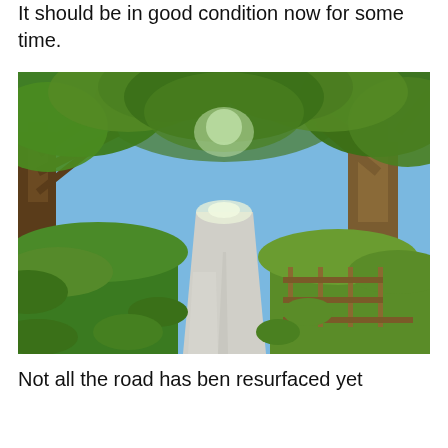It should be in good condition now for some time.
[Figure (photo): A narrow country lane / path lined with large green trees arching overhead, with grass verges on both sides and a wooden fence on the right. The path stretches into the distance under a green canopy.]
Not all the road has ben resurfaced yet